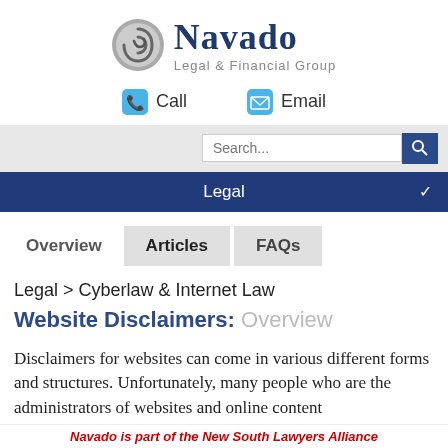[Figure (logo): Navado Legal & Financial Group logo with circular icon and text]
Call   Email
Search...
Legal
Overview   Articles   FAQs
Legal > Cyberlaw & Internet Law
Website Disclaimers: Overview
Disclaimers for websites can come in various different forms and structures. Unfortunately, many people who are the administrators of websites and online content
Navado is part of the New South Lawyers Alliance